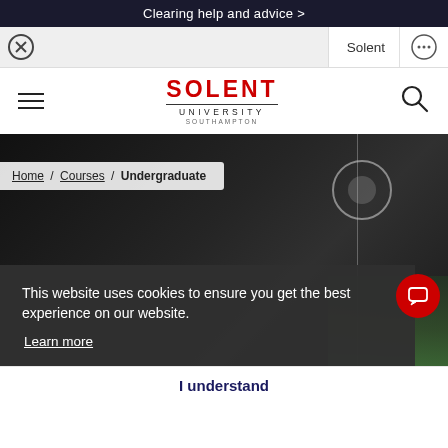Clearing help and advice >
Solent
[Figure (logo): Solent University Southampton logo with SOLENT in red bold text, UNIVERSITY in small caps, and SOUTHAMPTON below]
Home / Courses / Undergraduate
This website uses cookies to ensure you get the best experience on our website.
Learn more
I understand